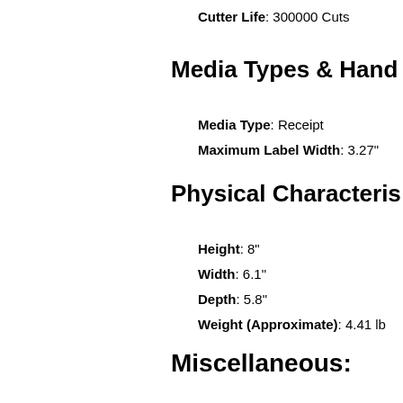Cutter Life: 300000 Cuts
Media Types & Handling
Media Type: Receipt
Maximum Label Width: 3.27"
Physical Characteristics
Height: 8"
Width: 6.1"
Depth: 5.8"
Weight (Approximate): 4.41 lb
Miscellaneous:
Platform Supported: PC
Platform Supported: Handheld
Energy Star: Yes